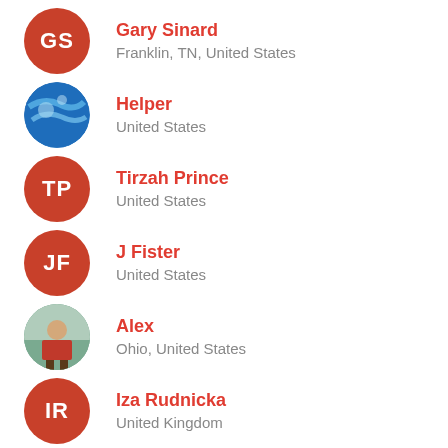Gary Sinard
Franklin, TN, United States
Helper
United States
Tirzah Prince
United States
J Fister
United States
Alex
Ohio, United States
Iza Rudnicka
United Kingdom